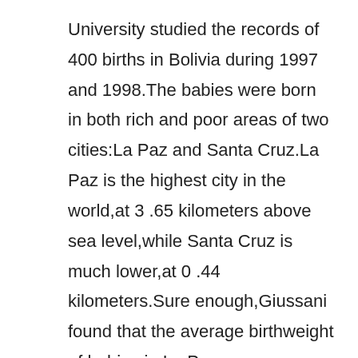University studied the records of 400 births in Bolivia during 1997 and 1998.The babies were born in both rich and poor areas of two cities:La Paz and Santa Cruz.La Paz is the highest city in the world,at 3 .65 kilometers above sea level,while Santa Cruz is much lower,at 0 .44 kilometers.Sure enough,Giussani found that the average birthweight of babies in La Paz was significantly lower than in Santa Cruz.This was true in both high and low-income families.Even babies borr to poor families in Santa Cruz were heavier on average than babies born to wealthy families in lofty La Paz.“We were very surprised by